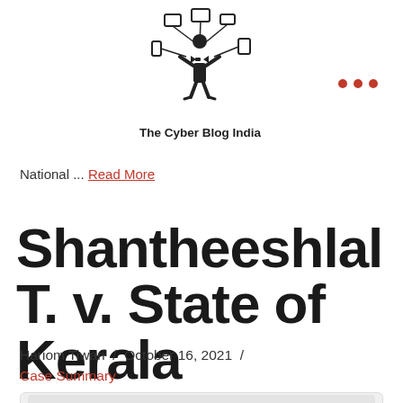[Figure (logo): The Cyber Blog India logo — figure of person with arms raised surrounded by device icons, with text 'The Cyber Blog India' below]
National ... Read more
Shantheeshlal T. v. State of Kerala
Hariom Tiwari / October 16, 2021 /
Case Summary
[Figure (screenshot): Card preview showing 'Shantheeshlal T. v. State of Kerala']